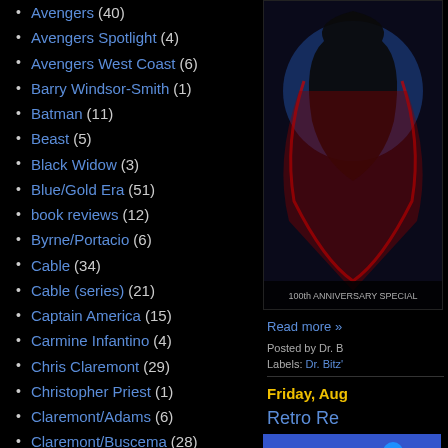Avengers (40)
Avengers Spotlight (4)
Avengers West Coast (6)
Barry Windsor-Smith (1)
Batman (11)
Beast (5)
Black Widow (3)
Blue/Gold Era (51)
book reviews (12)
Byrne/Portacio (6)
Cable (34)
Cable (series) (21)
Captain America (15)
Carmine Infantino (4)
Chris Claremont (29)
Christopher Priest (1)
Claremont/Adams (6)
Claremont/Buscema (28)
Claremont/Byrne (34)
Claremont/Cockrum (1)
Claremont/Cockrum II (26)
Claremont/Collins (3)
Claremont/Davis (20)
[Figure (illustration): Comic book cover illustration with dark figure against blue/red background, 100th Anniversary Special text]
Read more »
Posted by Dr. B
Labels: Dr. Bitz'
Friday, Aug
Retro Re
[Figure (photo): Simpsons characters Homer and Marge looking surprised, animated screenshot]